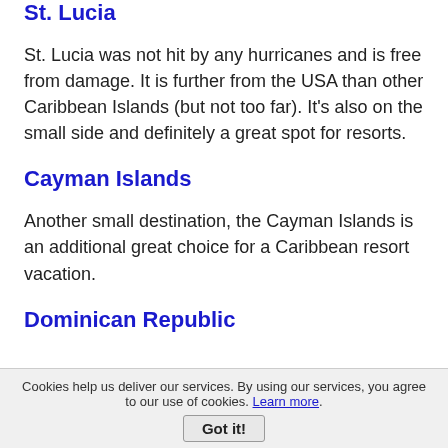St. Lucia
St. Lucia was not hit by any hurricanes and is free from damage. It is further from the USA than other Caribbean Islands (but not too far). It's also on the small side and definitely a great spot for resorts.
Cayman Islands
Another small destination, the Cayman Islands is an additional great choice for a Caribbean resort vacation.
Dominican Republic
Cookies help us deliver our services. By using our services, you agree to our use of cookies. Learn more. Got it!